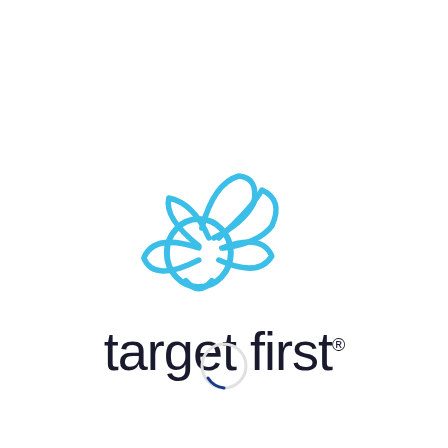[Figure (logo): Target First logo: a blue line-art illustration of a bee (round body with wings/petals) above the text 'target first' with a registered trademark symbol]
[Figure (other): A small circular loading spinner or button indicator at the bottom center of the page, light gray circle with a blue arc at the bottom]